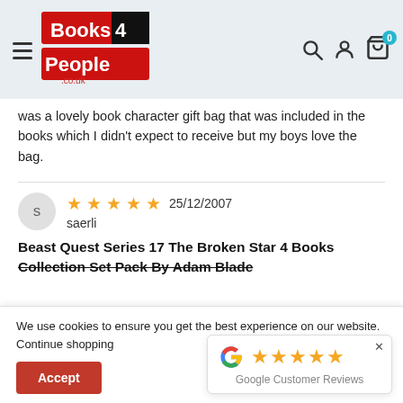[Figure (logo): Books4People.co.uk logo — red and black rectangular logo with 'Books4People.co.uk' text in white]
was a lovely book character gift bag that was included in the books which I didn't expect to receive but my boys love the bag.
★★★★★  25/12/2007
saerli
Beast Quest Series 17 The Broken Star 4 Books Collection Set Pack By Adam Blade
We use cookies to ensure you get the best experience on our website. Continue shopping
[Figure (other): Google Customer Reviews widget showing 5 gold stars and 'Google Customer Reviews' label with Google G logo]